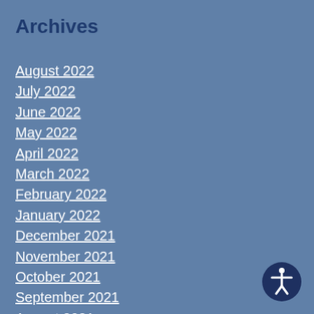Archives
August 2022
July 2022
June 2022
May 2022
April 2022
March 2022
February 2022
January 2022
December 2021
November 2021
October 2021
September 2021
August 2021
July 2021
[Figure (illustration): Accessibility icon: a circular dark navy button with a white person with arms outstretched, representing accessibility features]